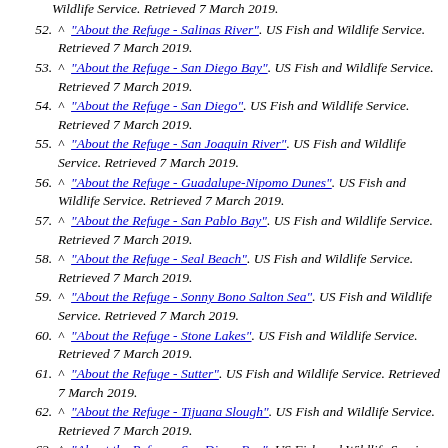Wildlife Service. Retrieved 7 March 2019.
52. ^ "About the Refuge - Salinas River". US Fish and Wildlife Service. Retrieved 7 March 2019.
53. ^ "About the Refuge - San Diego Bay". US Fish and Wildlife Service. Retrieved 7 March 2019.
54. ^ "About the Refuge - San Diego". US Fish and Wildlife Service. Retrieved 7 March 2019.
55. ^ "About the Refuge - San Joaquin River". US Fish and Wildlife Service. Retrieved 7 March 2019.
56. ^ "About the Refuge - Guadalupe-Nipomo Dunes". US Fish and Wildlife Service. Retrieved 7 March 2019.
57. ^ "About the Refuge - San Pablo Bay". US Fish and Wildlife Service. Retrieved 7 March 2019.
58. ^ "About the Refuge - Seal Beach". US Fish and Wildlife Service. Retrieved 7 March 2019.
59. ^ "About the Refuge - Sonny Bono Salton Sea". US Fish and Wildlife Service. Retrieved 7 March 2019.
60. ^ "About the Refuge - Stone Lakes". US Fish and Wildlife Service. Retrieved 7 March 2019.
61. ^ "About the Refuge - Sutter". US Fish and Wildlife Service. Retrieved 7 March 2019.
62. ^ "About the Refuge - Tijuana Slough". US Fish and Wildlife Service. Retrieved 7 March 2019.
63. ^ "About the Refuge - San Diego Bay". US Fish and Wildlife Service. Retrieved 7 March 2019.
64. ^ "About the Refuge - San Diego". US Fish and Wildlife Service. Retrieved 7 March 2019. (partial)